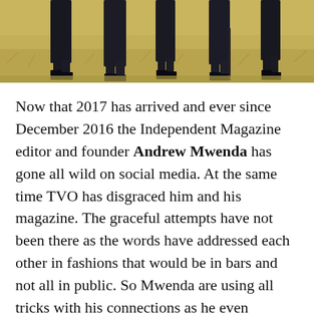[Figure (photo): Cropped photo showing the lower bodies/legs of several people dressed in dark clothing, standing in dry yellow grass. Only legs and feet visible.]
Now that 2017 has arrived and ever since December 2016 the Independent Magazine editor and founder Andrew Mwenda has gone all wild on social media. At the same time TVO has disgraced him and his magazine. The graceful attempts have not been there as the words have addressed each other in fashions that would be in bars and not all in public. So Mwenda are using all tricks with his connections as he even seemingly has traded his popularity and his work ethic for goods from the ruling regime. Because he has gone from being a fierce critic